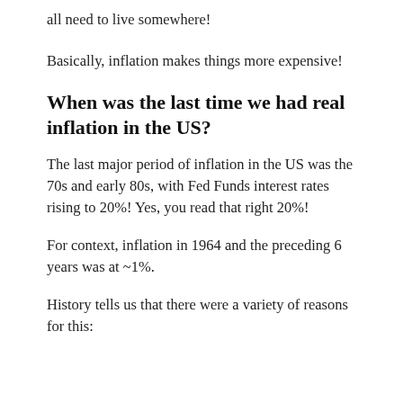all need to live somewhere!
Basically, inflation makes things more expensive!
When was the last time we had real inflation in the US?
The last major period of inflation in the US was the 70s and early 80s, with Fed Funds interest rates rising to 20%! Yes, you read that right 20%!
For context, inflation in 1964 and the preceding 6 years was at ~1%.
History tells us that there were a variety of reasons for this: